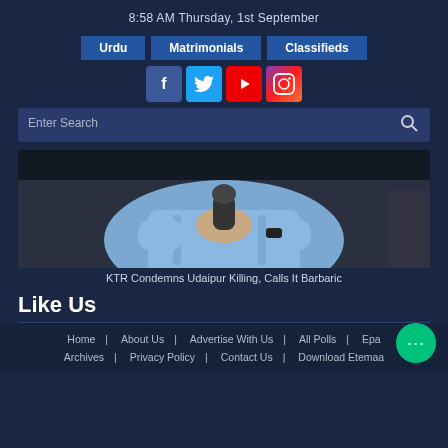8:58 AM Thursday, 1st September
Urdu | Matrimonials | Classifieds
[Figure (other): Social media icons: Facebook, Twitter, YouTube, Instagram]
Enter Search
[Figure (photo): Man in light blue shirt sitting and holding a microphone]
KTR Condemns Udaipur Killing, Calls It Barbaric
Like Us
Home | About Us | Advertise With Us | All Polls | Epa... Archives | Privacy Policy | Contact Us | Download Etemaa...